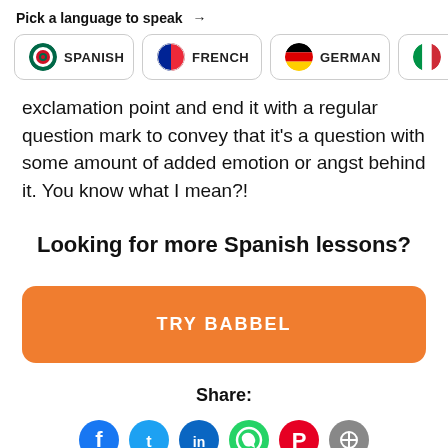Pick a language to speak →
[Figure (screenshot): Language selection bar with buttons for Spanish, French, German, Italian]
exclamation point and end it with a regular question mark to convey that it's a question with some amount of added emotion or angst behind it. You know what I mean?!
Looking for more Spanish lessons?
TRY BABBEL
Share:
[Figure (illustration): Social media share icons: Facebook, Twitter, LinkedIn, WhatsApp, Pinterest, and one more]